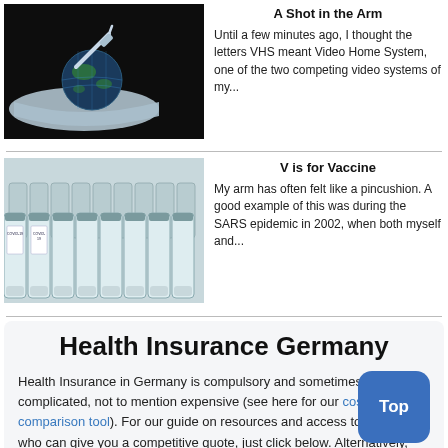[Figure (photo): A globe with a syringe stuck in it resting on a surgical face mask, against a black background]
A Shot in the Arm
Until a few minutes ago, I thought the letters VHS meant Video Home System, one of the two competing video systems of my...
[Figure (photo): Rows of COVID-19 vaccine vials lined up, viewed from the side]
V is for Vaccine
My arm has often felt like a pincushion. A good example of this was during the SARS epidemic in 2002, when both myself and...
Health Insurance Germany
Health Insurance in Germany is compulsory and sometimes complicated, not to mention expensive (see here for our cost comparison tool). For our guide on resources and access to agents who can give you a competitive quote, just click below. Alternatively, check out our useful private health insurance FAQ for